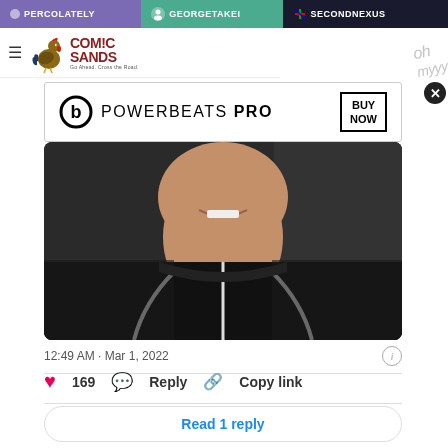PERCOLATELY   GEORGETAKEI   SECONDNEXUS
[Figure (logo): Comic Sands logo with rooster and red text]
[Figure (screenshot): Advertisement banner: Powerbeats PRO - BUY NOW]
[Figure (photo): Close-up photo of a person smiling, wearing a black hoodie with white zipper]
12:49 AM · Mar 1, 2022
169   Reply   Copy link
Read 1 reply